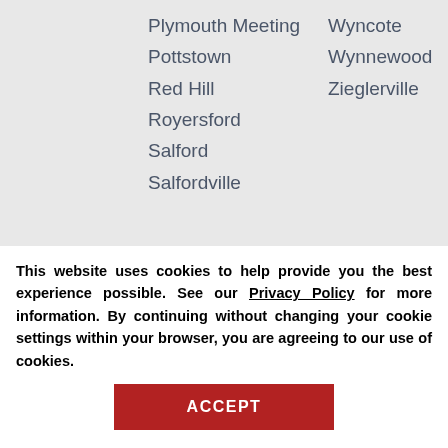Plymouth Meeting
Wyncote
Pottstown
Wynnewood
Red Hill
Zieglerville
Royersford
Salford
Salfordville
Need Sir Grout in Another Area? See all Sir Grout Locations
This website uses cookies to help provide you the best experience possible. See our Privacy Policy for more information. By continuing without changing your cookie settings within your browser, you are agreeing to our use of cookies.
ACCEPT